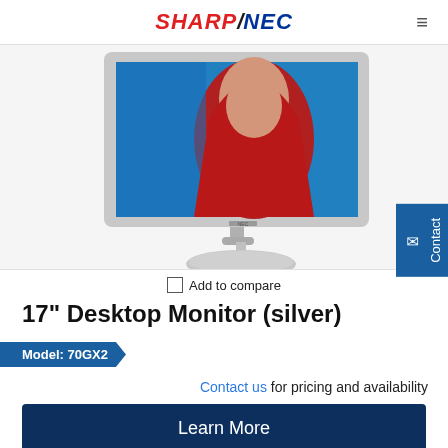SHARP/NEC
[Figure (photo): NEC 17-inch desktop monitor in silver color, displayed at an angle on a round silver base, showing a product demo image on screen]
Add to compare
17" Desktop Monitor (silver)
Model: 70GX2
Contact us for pricing and availability
Learn More